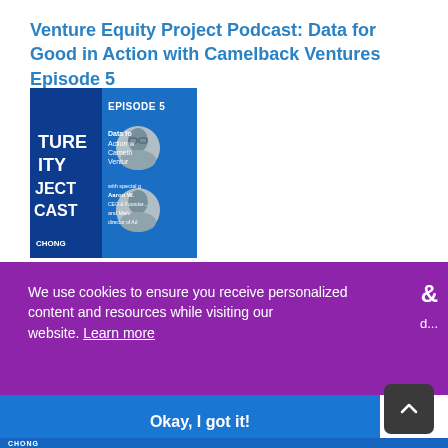Venture Equity Project Podcast: Data for Good in Action with Camelback Ventures Episode 5
[Figure (photo): Podcast episode thumbnail for Episode 5 of the Venture Equity Project Podcast featuring two portrait photos on a blue background with text about Data for Good in Action with Camelback Ventures, with guests Aaron W. and Melv...]
We use cookies to ensure you receive personalized content and resources while visiting our website. Learn more
Okay, I got it!